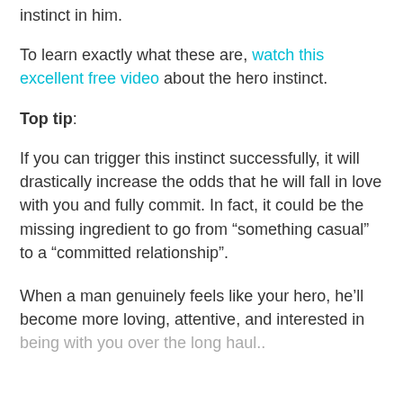instinct in him.
To learn exactly what these are, watch this excellent free video about the hero instinct.
Top tip:
If you can trigger this instinct successfully, it will drastically increase the odds that he will fall in love with you and fully commit. In fact, it could be the missing ingredient to go from “something casual” to a “committed relationship”.
When a man genuinely feels like your hero, he’ll become more loving, attentive, and interested in being with you over the long haul..